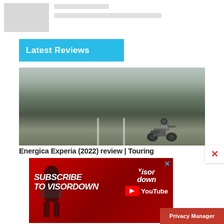[Figure (screenshot): Top stub area showing a grey placeholder image and two grey lines representing a partially visible article card above the Latest Reviews section]
Latest Reviews
[Figure (photo): Photo of a motorcyclist on an open road through a moorland landscape under an overcast sky, with green hills on both sides and a stone wall. The rider is on a white/silver touring motorcycle.]
Energica Experia (2022) review | Touring
[Figure (screenshot): Advertisement banner with red background saying 'SUBSCRIBE TO VISORDOWN' with Visordown logo and YouTube button. Has a close (x) button in blue at top right.]
Privacy Manager